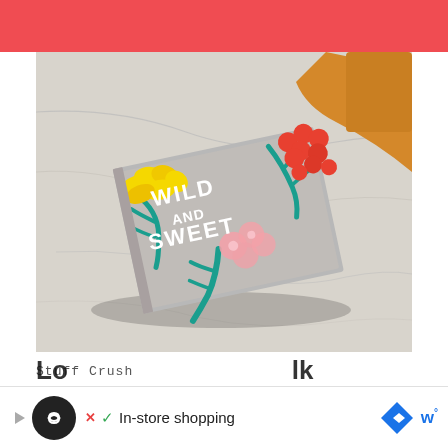[Figure (photo): A book titled 'Wild and Sweet' with a colorful illustrated cover featuring yellow, orange/red, and pink flowers with teal branches, lying on a white marble table. An orange chair is partially visible in the background.]
Stuff Crush
Take a walk on the wild side with sweet-toothed forager, Rachel
[Figure (other): Advertisement banner with a circular icon (infinity/loop symbol on dark background), a checkmark, 'In-store shopping' text, and a blue diamond navigation icon, and 'w°' text on the right.]